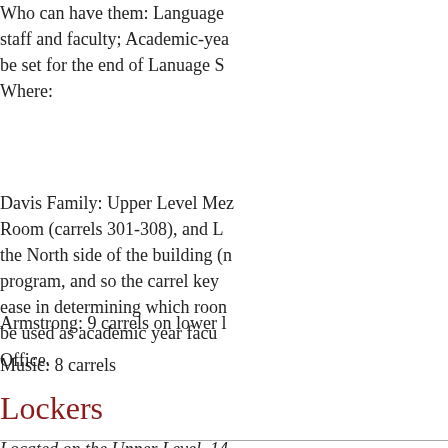Who can have them: Language staff and faculty; Academic-year be set for the end of Lanuage S Where:
Davis Family: Upper Level Mez Room (carrels 301-308), and L the North side of the building (n program, and so the carrel key ease in determining which roon be used as academic year facu Office.
Armstrong: 9 carrels on lower l
Music: 8 carrels
Lockers
Located on the Upper Level, 14 renewals available.